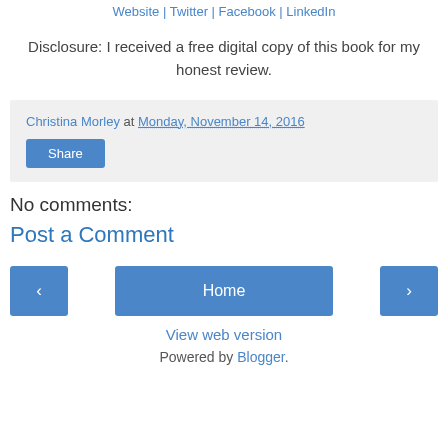Website | Twitter | Facebook | LinkedIn
Disclosure: I received a free digital copy of this book for my honest review.
Christina Morley at Monday, November 14, 2016
Share
No comments:
Post a Comment
Home
View web version
Powered by Blogger.